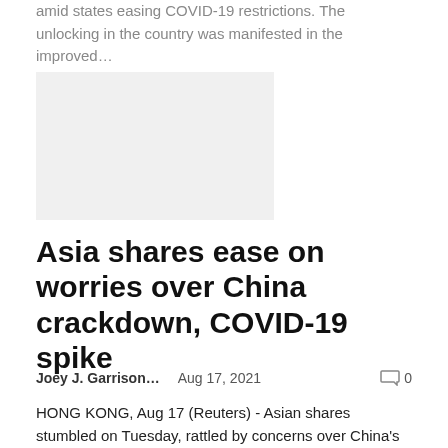amid states easing COVID-19 restrictions. The unlocking in the country was manifested in the improved...
[Figure (photo): Gray placeholder image for article thumbnail]
Asia shares ease on worries over China crackdown, COVID-19 spike
Joey J. Garrison...   Aug 17, 2021   0
HONG KONG, Aug 17 (Reuters) - Asian shares stumbled on Tuesday, rattled by concerns over China's regulations for its once-freewheeling internet sector and the worldwide spike in COVID-19